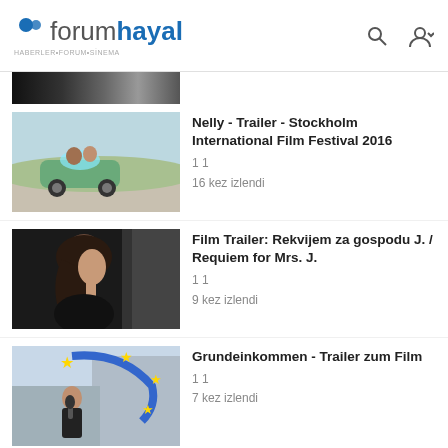forumhayal
[Figure (screenshot): Partial thumbnail strip at top, cropped video thumbnail]
[Figure (photo): Thumbnail for Nelly - Trailer - Stockholm International Film Festival 2016: green convertible car on road]
Nelly - Trailer - Stockholm International Film Festival 2016
1 1
16 kez izlendi
[Figure (photo): Thumbnail for Film Trailer: Rekvijem za gospodu J. / Requiem for Mrs. J.: woman's profile in dark scene]
Film Trailer: Rekvijem za gospodu J. / Requiem for Mrs. J.
1 1
9 kez izlendi
[Figure (photo): Thumbnail for Grundeinkommen - Trailer zum Film: man with microphone in front of EU stars]
Grundeinkommen - Trailer zum Film
1 1
7 kez izlendi
[Figure (photo): Thumbnail for AICE Israeli Film Festival - 2012 Trailer: soldiers in dark scene]
AICE Israeli Film Festival - 2012 Trailer
1 1